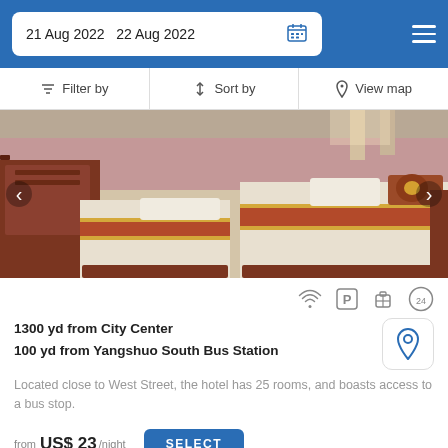21 Aug 2022   22 Aug 2022
Filter by   Sort by   View map
[Figure (photo): Hotel room with two single beds with white and red/gold bedding, red wooden furniture, pink walls]
1300 yd from City Center
100 yd from Yangshuo South Bus Station
Located close to West Street, the hotel has 25 rooms, and boasts access to a bus stop.
from US$ 23/night   SELECT
Booked.net uses cookies that are strictly necessary for its functioning. We do not collect analytical and marketing cookies.
Yangshuo West Street Vista Hotel